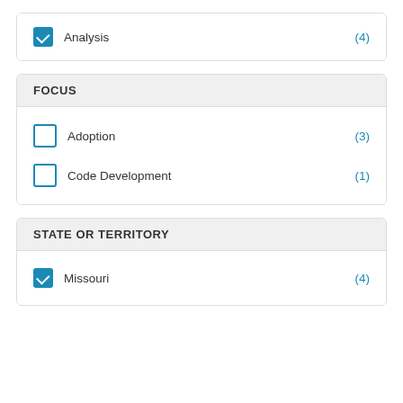Analysis (4) [checked]
FOCUS
Adoption (3) [unchecked]
Code Development (1) [unchecked]
STATE OR TERRITORY
Missouri (4) [checked]